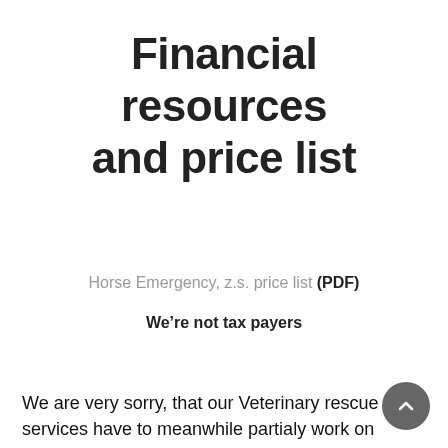Financial resources and price list
Horse Emergency, z.s. price list (PDF)
We’re not tax payers
We are very sorry, that our Veterinary rescue services have to meanwhile partialy work on commercial base. We hope, that in near future situation will be betters and that needed resources will be given by state, regions, companies or